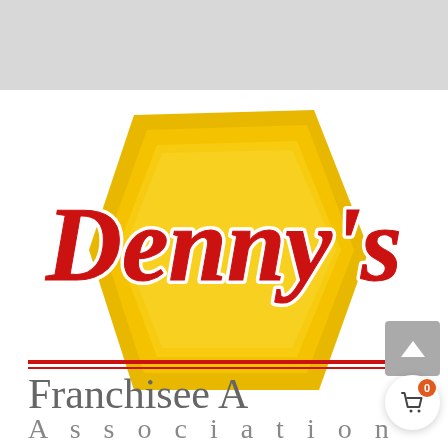[Figure (logo): Gray banner bar at top of page]
[Figure (logo): Denny's restaurant logo — yellow hexagonal badge shape with red bold italic 'Denny's' text and white outline, on white background]
[Figure (logo): Franchisee Association logo — two red horizontal lines above large gray 'Franchisee' text and spaced gray 'Association' text]